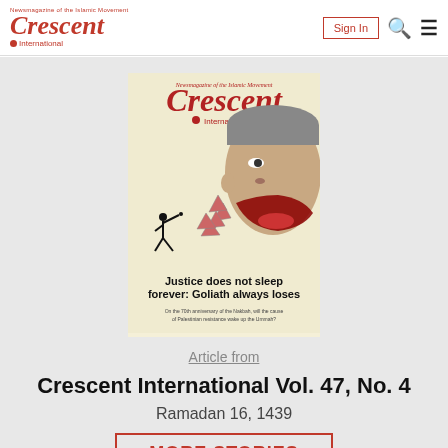Crescent International — Sign In
[Figure (illustration): Magazine cover of Crescent International Vol. 47 No. 4 showing a silhouette of a person throwing a stone at a giant face with missiles/spikes coming out of its mouth, with the text 'Justice does not sleep forever: Goliath always loses']
Article from
Crescent International Vol. 47, No. 4
Ramadan 16, 1439
MORE STORIES